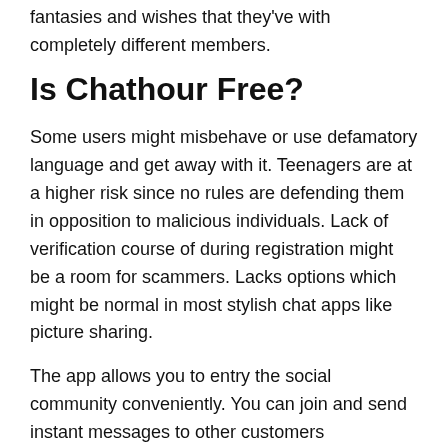fantasies and wishes that they've with completely different members.
Is Chathour Free?
Some users might misbehave or use defamatory language and get away with it. Teenagers are at a higher risk since no rules are defending them in opposition to malicious individuals. Lack of verification course of during registration might be a room for scammers. Lacks options which might be normal in most stylish chat apps like picture sharing.
The app allows you to entry the social community conveniently. You can join and send instant messages to other customers immediately. Users can access every little thing, including reside notifications –you won't miss any updates. The social network is extra of a digital community whereby customers can create or be part of chat rooms